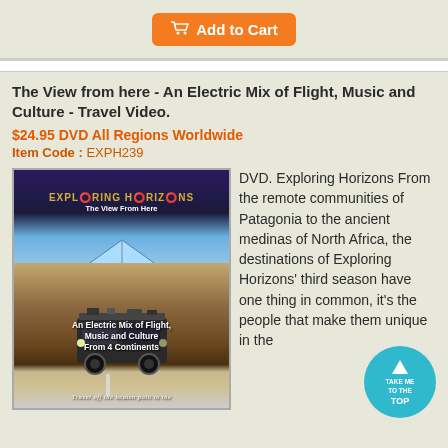[Figure (other): Orange 'Add to Cart' button with shopping cart icon]
The View from here - An Electric Mix of Flight, Music and Culture - Travel Video.
$24.95 DVD All Regions Worldwide
Item Code : EXPH239
[Figure (photo): DVD cover for 'Exploring Horizons - The View From Here' showing a hang glider and truck in desert landscape with text 'An Electric Mix of Flight, Music and Culture From 4 Continents']
DVD. Exploring Horizons From the remote communities of Patagonia to the ancient medinas of North Africa, the destinations of Exploring Horizons' third season have one thing in common, it's the people that make them unique in the